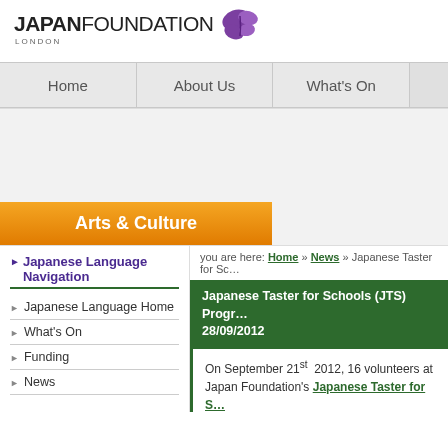[Figure (logo): Japan Foundation London logo with butterfly icon]
Home | About Us | What's On
[Figure (illustration): Banner area with Arts & Culture orange button]
Japanese Language Navigation
Japanese Language Home
What's On
Funding
News
you are here: Home » News » Japanese Taster for Schools (JTS) Programme
Japanese Taster for Schools (JTS) Programme — 28/09/2012
On September 21st 2012, 16 volunteers at Japan Foundation's Japanese Taster for Schools programme — fluent Japanese speakers conduct free Ja...